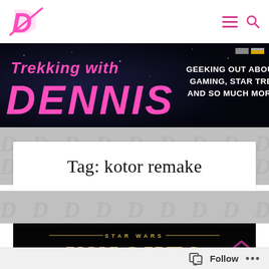[Figure (logo): Pink stylized D logo for the website]
Navigation icons: hamburger menu and search
[Figure (banner): Trekking with Dennis banner - geeking out about gaming, Star Trek, and so much more! Pink text on dark space background]
Tag: kotor remake
[Figure (screenshot): Star Wars Knights of the Old Republic game card on dark background]
Follow ...